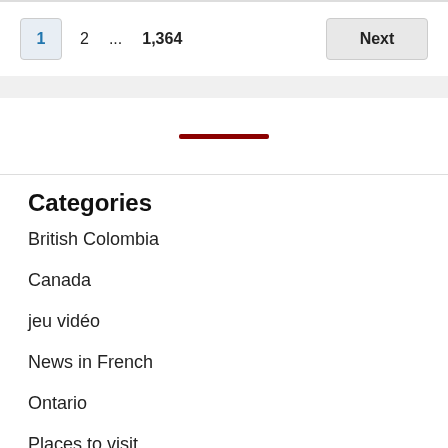1  2  ...  1,364  Next
Categories
British Colombia
Canada
jeu vidéo
News in French
Ontario
Places to visit
Things to do